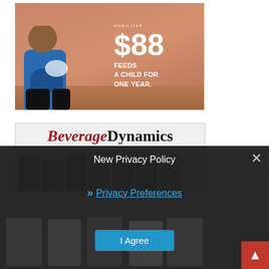[Figure (photo): Advertisement showing a young child eating from a bowl with text '$88 FEEDS A CHILD FOR ONE YEAR.']
[Figure (screenshot): Beverage Dynamics magazine advertisement showing logo, 'IPAD / MOBILE / PRINT' tagline, and magazine covers]
New Privacy Policy
Privacy Preferences
I Agree